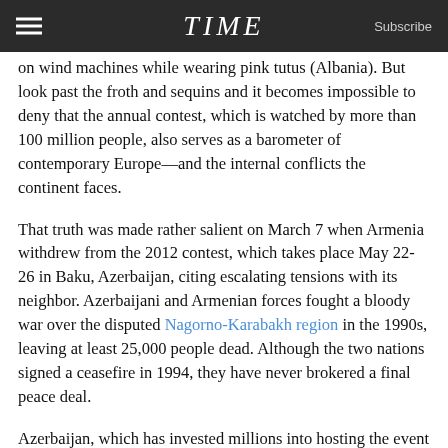TIME   Subscribe
on wind machines while wearing pink tutus (Albania). But look past the froth and sequins and it becomes impossible to deny that the annual contest, which is watched by more than 100 million people, also serves as a barometer of contemporary Europe—and the internal conflicts the continent faces.
That truth was made rather salient on March 7 when Armenia withdrew from the 2012 contest, which takes place May 22-26 in Baku, Azerbaijan, citing escalating tensions with its neighbor. Azerbaijani and Armenian forces fought a bloody war over the disputed Nagorno-Karabakh region in the 1990s, leaving at least 25,000 people dead. Although the two nations signed a ceasefire in 1994, they have never brokered a final peace deal.
Azerbaijan, which has invested millions into hosting the event